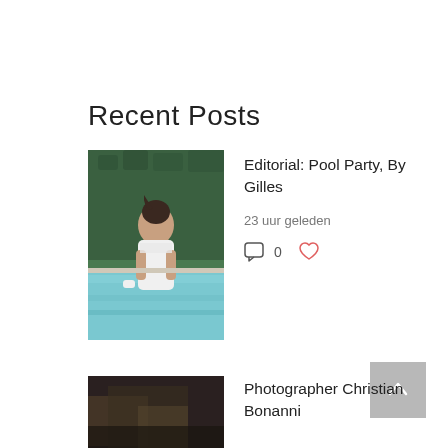Recent Posts
[Figure (photo): Woman in white top standing in a pool with green hedge background]
Editorial: Pool Party, By Gilles
23 uur geleden
0
[Figure (photo): Dark background photo, partially visible]
Photographer Christian Bonanni